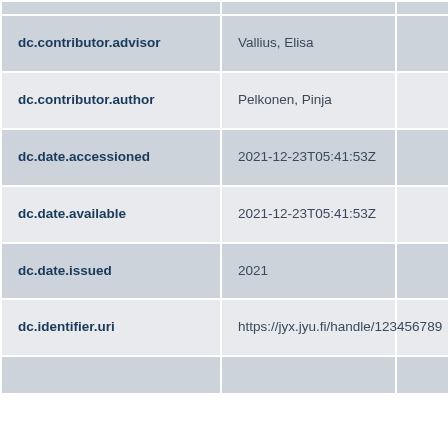| Field | Value |  |
| --- | --- | --- |
| dc.contributor.advisor | Vallius, Elisa |  |
| dc.contributor.author | Pelkonen, Pinja |  |
| dc.date.accessioned | 2021-12-23T05:41:53Z |  |
| dc.date.available | 2021-12-23T05:41:53Z |  |
| dc.date.issued | 2021 |  |
| dc.identifier.uri | https://jyx.jyu.fi/handle/123456789... |  |